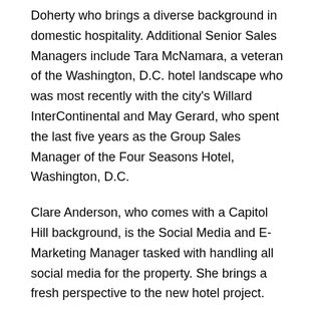Doherty who brings a diverse background in domestic hospitality. Additional Senior Sales Managers include Tara McNamara, a veteran of the Washington, D.C. hotel landscape who was most recently with the city's Willard InterContinental and May Gerard, who spent the last five years as the Group Sales Manager of the Four Seasons Hotel, Washington, D.C.
Clare Anderson, who comes with a Capitol Hill background, is the Social Media and E-Marketing Manager tasked with handling all social media for the property. She brings a fresh perspective to the new hotel project.
With culinary offerings at the forefront of the property's operations and the debut of the city's first BLT Prime, the Trump Organization enlisted one of its top team members, Gabriel Constantin to be the Hotel Manager, overseeing all day-to-day operations. Formerly the Director of Food and Beverage at Trump National Doral Miami, Constantin